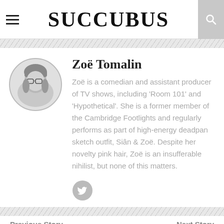SUCCUBUS
[Figure (photo): Circular black-and-white portrait photo of Zoë Tomalin, a woman with short hair and glasses]
Zoë Tomalin
Zoë is a comedian and assistant producer of TV shows, including 'Room 101' and 'Hypothetical'. She is a former member of the Cambridge Footlights and regularly performs as part of high-energy deadpan sketch outfit, Siân & Zoë. Despite her novelty pink hair, Zoë is an insufferable nihilist, but none of this matters.
[Figure (logo): Twitter bird icon circle]
Previous Story   Next Story